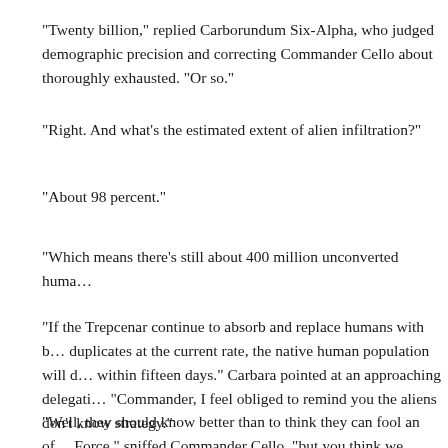“Twenty billion,” replied Carborundum Six-Alpha, who judged demographic precision and correcting Commander Cello about thoroughly exhausted. “Or so.”
“Right. And what’s the estimated extent of alien infiltration?”
“About 98 percent.”
“Which means there’s still about 400 million unconverted huma…
“If the Trepcenar continue to absorb and replace humans with b… duplicates at the current rate, the native human population will d… within fifteen days.” Carbara pointed at an approaching delegati… “Commander, I feel obliged to remind you the aliens don’t know strategy.”
“Well, they should know better than to think they can fool an of… Force,” sniffed Commander Cello, “but you think we should pl…